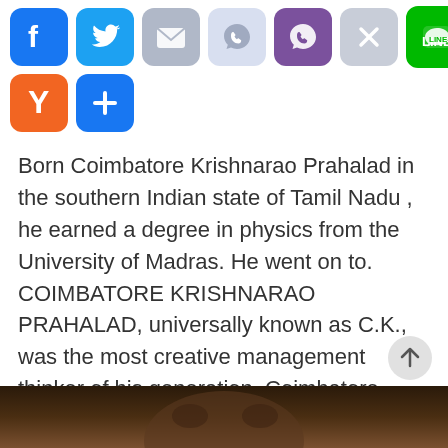[Figure (infographic): Two rows of social media sharing icons: Facebook, Twitter, Email, Viber (light), Viber (purple), X/close, LINE (green) in first row; Yahoo (orange Y) and a blue plus/share icon in second row.]
Born Coimbatore Krishnarao Prahalad in the southern Indian state of Tamil Nadu , he earned a degree in physics from the University of Madras. He went on to. COIMBATORE KRISHNARAO PRAHALAD, universally known as C.K., was the most creative management thinker of his generation. Coimbatore Krishnarao Prahalad was born Aug. 8, , in Coimbatore, in the southern Indian state of Tamil Nadu. After graduating from the.
[Figure (photo): Partial view of a person's face/photo, cropped at the bottom of the page.]